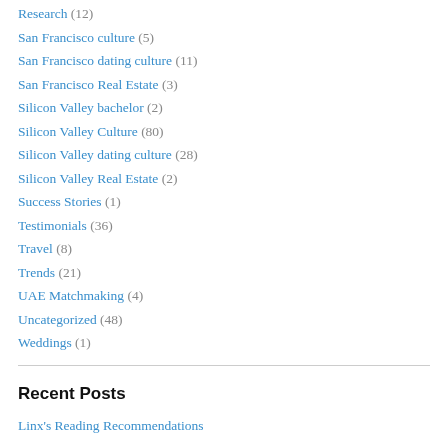Research (12)
San Francisco culture (5)
San Francisco dating culture (11)
San Francisco Real Estate (3)
Silicon Valley bachelor (2)
Silicon Valley Culture (80)
Silicon Valley dating culture (28)
Silicon Valley Real Estate (2)
Success Stories (1)
Testimonials (36)
Travel (8)
Trends (21)
UAE Matchmaking (4)
Uncategorized (48)
Weddings (1)
Recent Posts
Linx's Reading Recommendations